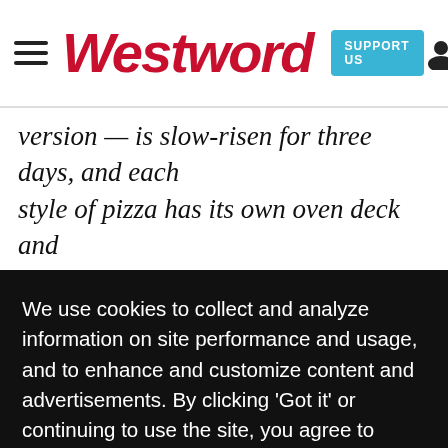Westword — SUPPORT US
version — is slow-risen for three days, and each style of pizza has its own oven deck and temperature. With the Detroit-style, the result is a caramelized...makes
We use cookies to collect and analyze information on site performance and usage, and to enhance and customize content and advertisements. By clicking 'Got it' or continuing to use the site, you agree to allow cookies to be placed. To find out more, visit our cookies policy and our privacy policy.
bu
original
Got it!
waiian
bite. While bread still features a light and